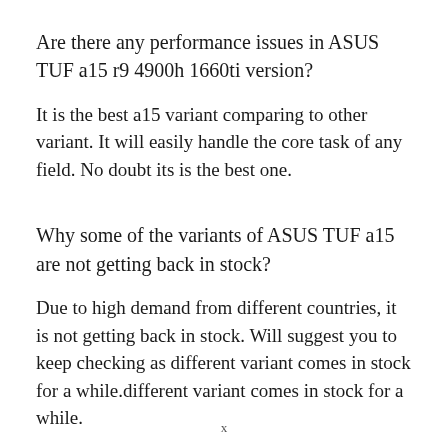Are there any performance issues in ASUS TUF a15 r9 4900h 1660ti version?
It is the best a15 variant comparing to other variant. It will easily handle the core task of any field. No doubt its is the best one.
Why some of the variants of ASUS TUF a15 are not getting back in stock?
Due to high demand from different countries, it is not getting back in stock. Will suggest you to keep checking as different variant comes in stock for a while.
x